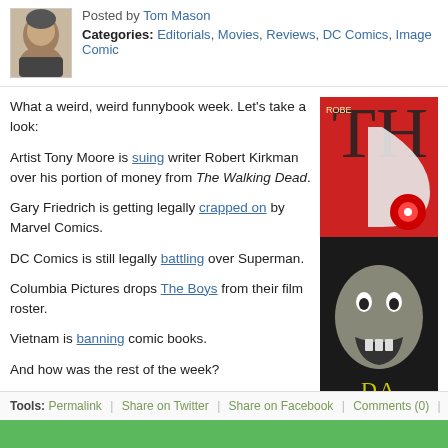Posted by Tom Mason
Categories: Editorials, Movies, Reviews, DC Comics, Image Comics
What a weird, weird funnybook week. Let's take a look:
Artist Tony Moore is suing writer Robert Kirkman over his portion of money from The Walking Dead.
Gary Friedrich is getting legally crapped on by Marvel Comics.
DC Comics is still legally battling over Superman.
Columbia Pictures drops The Boys from their film roster.
Vietnam is banning comic books.
And how was the rest of the week?
If you've ever thought about opening a used bookstore, here are 25 Things you might discover.
Click to continue reading Weekend Reading: Gary Friedrich, Walking Dead, Ted McKeeer & Arcana
[Figure (illustration): Comic book cover image featuring a zombie/horror theme with red and grey tones, partially visible on the right side of the page]
Tools: Permalink | Share on Twitter | Share on Facebook | Comments (0) | Email th